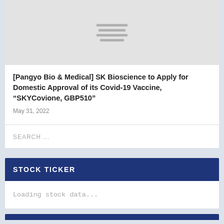[Figure (illustration): Gray placeholder image with horizontal loading lines in the center]
[Pangyo Bio & Medical] SK Bioscience to Apply for Domestic Approval of its Covid-19 Vaccine, “SKYCovione, GBP510”
May 31, 2022
SEARCH ...
STOCK TICKER
Loading stock data...